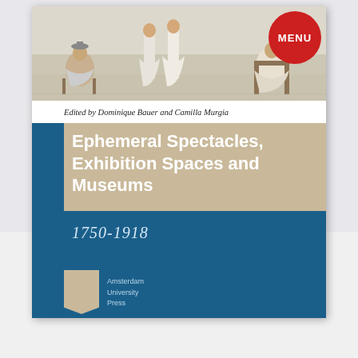[Figure (illustration): Book cover of 'Ephemeral Spectacles, Exhibition Spaces and Museums 1750-1918', edited by Dominique Bauer and Camilla Murgia, published by Amsterdam University Press. The cover features a historical illustration at the top showing figures in period dress, a tan/beige title band with white bold title text, a blue lower section with the date range 1750-1918 in italic, a red circular MENU badge in the top-right corner, and the Amsterdam University Press logo at the bottom-left.]